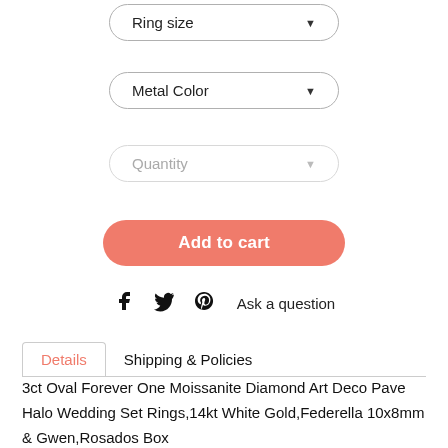[Figure (other): Ring size dropdown selector button with border and arrow]
[Figure (other): Metal Color dropdown selector button with border and arrow]
[Figure (other): Quantity dropdown selector button with light border and arrow]
[Figure (other): Add to cart salmon/coral rounded button]
[Figure (other): Social sharing icons row: Facebook, Twitter, Pinterest, and Ask a question link]
[Figure (other): Tab navigation: Details (active, coral) and Shipping & Policies tabs]
3ct Oval Forever One Moissanite Diamond Art Deco Pave Halo Wedding Set Rings,14kt White Gold,Federella 10x8mm & Gwen,Rosados Box